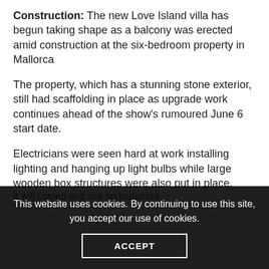Construction: The new Love Island villa has begun taking shape as a balcony was erected amid construction at the six-bedroom property in Mallorca
The property, which has a stunning stone exterior, still had scaffolding in place as upgrade work continues ahead of the show’s rumoured June 6 start date.
Electricians were seen hard at work installing lighting and hanging up light bulbs while large wooden box structures were also put in place.
This website uses cookies. By continuing to use this site, you accept our use of cookies.
ACCEPT